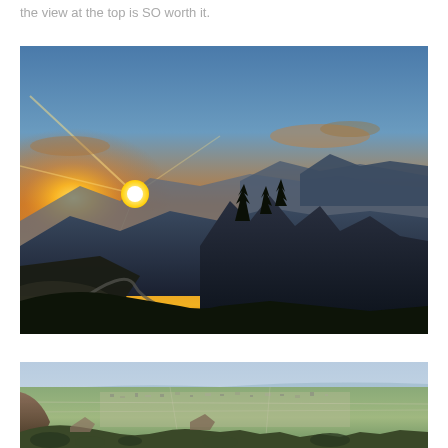the view at the top is SO worth it.
[Figure (photo): Panoramic mountain sunrise/sunset photo. A bright sun sits low on the horizon on the left side, casting golden and orange hues across the sky. The sky transitions from warm orange near the horizon to blue-grey higher up. In the foreground, dark silhouettes of rugged mountain ridges and rocky peaks are visible. A winding path or road is visible on the left side descending the mountain slope. Vegetation clings to the rocky outcrops in the foreground.]
[Figure (photo): Aerial view from a mountain top looking down over a wide valley and town/city below. The landscape is green and lush. Buildings and a town are visible spread across the valley floor. Rocky cliffs and vegetation are visible in the immediate foreground at the bottom of the frame. The sky is light and hazy in the background.]